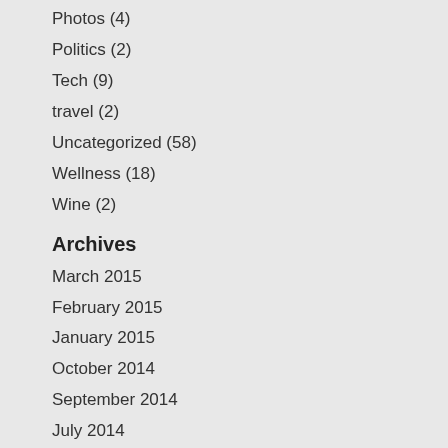Photos (4)
Politics (2)
Tech (9)
travel (2)
Uncategorized (58)
Wellness (18)
Wine (2)
Archives
March 2015
February 2015
January 2015
October 2014
September 2014
July 2014
January 2014
September 2013
July 2013
June 2013
May 2013
April 2013